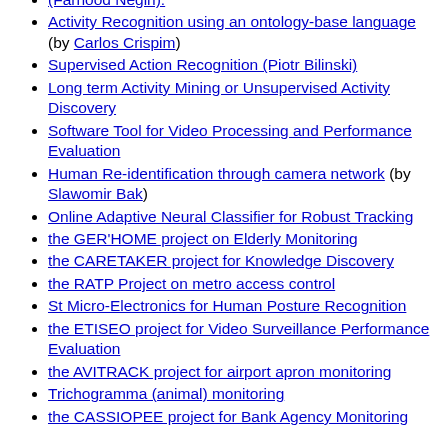(Farhood Negin).
Activity Recognition using an ontology-base language (by Carlos Crispim)
Supervised Action Recognition (Piotr Bilinski)
Long term Activity Mining or Unsupervised Activity Discovery
Software Tool for Video Processing and Performance Evaluation
Human Re-identification through camera network (by Slawomir Bak)
Online Adaptive Neural Classifier for Robust Tracking
the GER'HOME project on Elderly Monitoring
the CARETAKER project for Knowledge Discovery
the RATP Project on metro access control
St Micro-Electronics for Human Posture Recognition
the ETISEO project for Video Surveillance Performance Evaluation
the AVITRACK project for airport apron monitoring
Trichogramma (animal) monitoring
the CASSIOPEE project for Bank Agency Monitoring